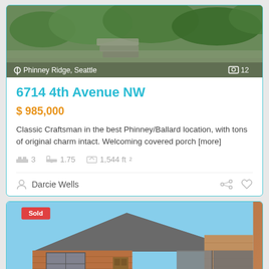[Figure (photo): Outdoor photo of property with stone steps and green landscaping, location tag: Phinney Ridge, Seattle, photo count: 12]
6714 4th Avenue NW
$ 985,000
Classic Craftsman in the best Phinney/Ballard location, with tons of original charm intact. Welcoming covered porch [more]
3 beds  1.75 baths  1,544 ft²
Darcie Wells
[Figure (photo): Exterior photo of brick house with Sold badge, blue sky background, gray roof visible]